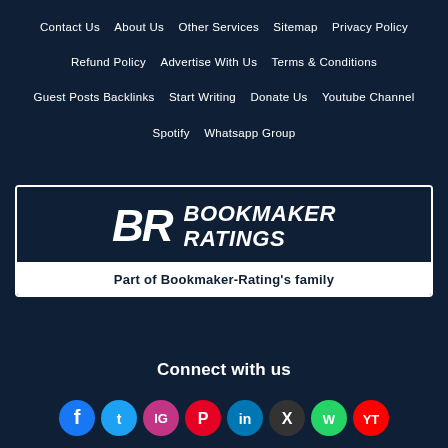Contact Us   About Us   Other Services   Sitemap   Privacy Policy   Refund Policy   Advertise With Us   Terms & Conditions   Guest Posts Backlinks   Start Writing   Donate Us   Youtube Channel   Spotify   Whatsapp Group
[Figure (logo): BR Bookmaker Ratings logo — dark navy background with italic 'BR' letters and 'BOOKMAKER RATINGS' text in white bold italic, below which is a white bar reading 'Part of Bookmaker-Rating's family']
Connect with us
[Figure (infographic): Row of social media icon circles: Facebook (blue), Twitter (blue), Instagram (gradient pink/purple), Pinterest (red), LinkedIn (blue), X/Twitter (dark), WhatsApp (green), YouTube (red)]